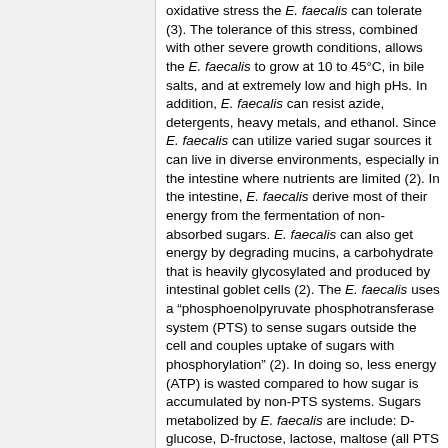oxidative stress the E. faecalis can tolerate (3). The tolerance of this stress, combined with other severe growth conditions, allows the E. faecalis to grow at 10 to 45°C, in bile salts, and at extremely low and high pHs. In addition, E. faecalis can resist azide, detergents, heavy metals, and ethanol. Since E. faecalis can utilize varied sugar sources it can live in diverse environments, especially in the intestine where nutrients are limited (2). In the intestine, E. faecalis derive most of their energy from the fermentation of non-absorbed sugars. E. faecalis can also get energy by degrading mucins, a carbohydrate that is heavily glycosylated and produced by intestinal goblet cells (2). The E. faecalis uses a "phosphoenolpyruvate phosphotransferase system (PTS) to sense sugars outside the cell and couples uptake of sugars with phosphorylation" (2). In doing so, less energy (ATP) is wasted compared to how sugar is accumulated by non-PTS systems. Sugars metabolized by E. faecalis are include: D-glucose, D-fructose, lactose, maltose (all PTS